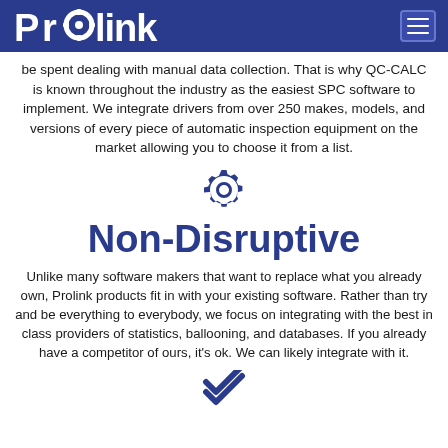Prolink
be spent dealing with manual data collection. That is why QC-CALC is known throughout the industry as the easiest SPC software to implement. We integrate drivers from over 250 makes, models, and versions of every piece of automatic inspection equipment on the market allowing you to choose it from a list.
[Figure (illustration): Gear / settings icon in dark blue]
Non-Disruptive
Unlike many software makers that want to replace what you already own, Prolink products fit in with your existing software. Rather than try and be everything to everybody, we focus on integrating with the best in class providers of statistics, ballooning, and databases. If you already have a competitor of ours, it's ok. We can likely integrate with it.
[Figure (illustration): Double check mark / checkmark icon in dark blue]